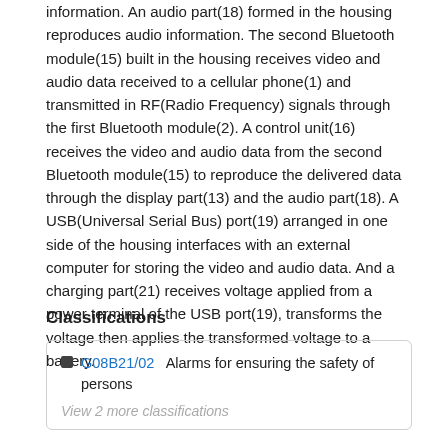information. An audio part(18) formed in the housing reproduces audio information. The second Bluetooth module(15) built in the housing receives video and audio data received to a cellular phone(1) and transmitted in RF(Radio Frequency) signals through the first Bluetooth module(2). A control unit(16) receives the video and audio data from the second Bluetooth module(15) to reproduce the delivered data through the display part(13) and the audio part(18). A USB(Universal Serial Bus) port(19) arranged in one side of the housing interfaces with an external computer for storing the video and audio data. And a charging part(21) receives voltage applied from a power terminal of the USB port(19), transforms the voltage then applies the transformed voltage to a battery.
Classifications
| G08B21/02 | Alarms for ensuring the safety of persons |
| View 2 more classifications |  |